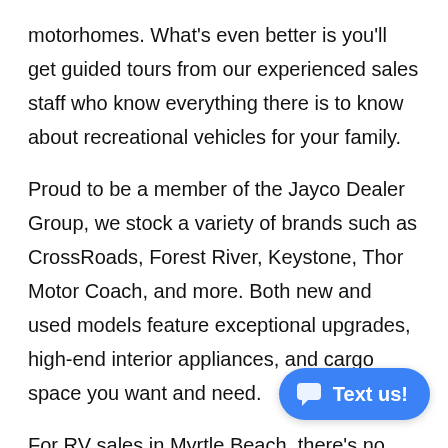motorhomes. What's even better is you'll get guided tours from our experienced sales staff who know everything there is to know about recreational vehicles for your family.
Proud to be a member of the Jayco Dealer Group, we stock a variety of brands such as CrossRoads, Forest River, Keystone, Thor Motor Coach, and more. Both new and used models feature exceptional upgrades, high-end interior appliances, and cargo space you want and need.
For RV sales in Myrtle Beach, there's no question your go-to source is RV One Superstores Myrtle Beach. Contact us today for a private tour of our stock of new trailers, fifth wheels, motorhomes, and more.
[Figure (other): Blue rounded chat button with speech bubble icon and text 'Text us!']